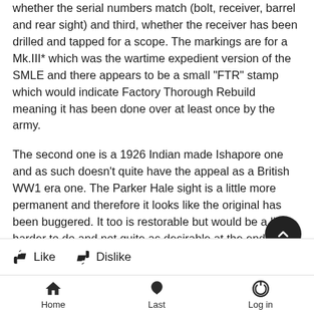whether the serial numbers match (bolt, receiver, barrel and rear sight) and third, whether the receiver has been drilled and tapped for a scope. The markings are for a Mk.III* which was the wartime expedient version of the SMLE and there appears to be a small "FTR" stamp which would indicate Factory Thorough Rebuild meaning it has been done over at least once by the army.
The second one is a 1926 Indian made Ishapore one and as such doesn't quite have the appeal as a British WW1 era one. The Parker Hale sight is a little more permanent and therefore it looks like the original has been buggered. It too is restorable but would be a little harder to do and not quite as desirable at the end (my opinion).
On the mags, they are both for the SMLE, though the better one is WW2 Australian made in their Orange Arsenal.
Like   Dislike   Home   Last   Log in